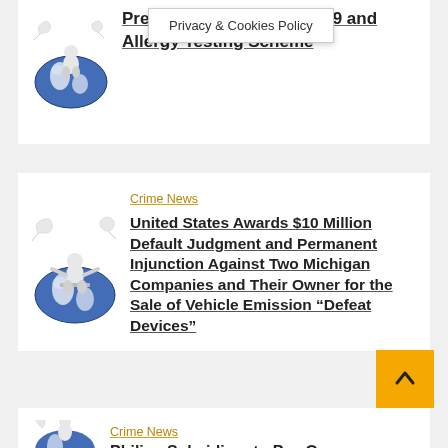[Figure (illustration): White 3D figure sitting on globe with doves, partial view at top]
President... 7 Million COVID-19 and Allergy Testing Scheme
[Figure (illustration): White 3D figure sitting on globe with doves]
Crime News
United States Awards $10 Million Default Judgment and Permanent Injunction Against Two Michigan Companies and Their Owner for the Sale of Vehicle Emission “Defeat Devices”
[Figure (illustration): White 3D figure sitting on globe with doves, partial view at bottom]
Crime News
Philips Subsidiary to Pay Over
Privacy & Cookies Policy